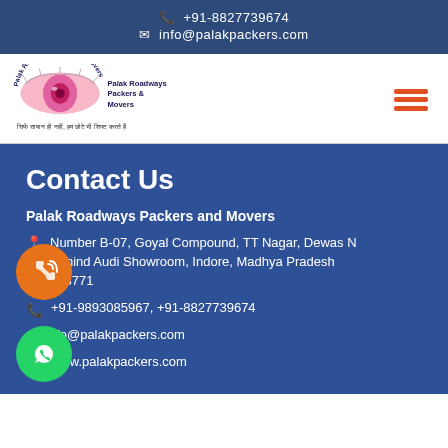+91-8827739674 | info@palakpackers.com
[Figure (logo): Palak Roadways Packers & Movers logo with eye graphic and Hindi tagline]
Contact Us
Palak Roadways Packers and Movers
Number B-07, Goyal Compound, TT Nagar, Dewas Naka, Behind Audi Showroom, Indore, Madhya Pradesh 453771
+91-9893085967, +91-8827739674
info@palakpackers.com
www.palakpackers.com